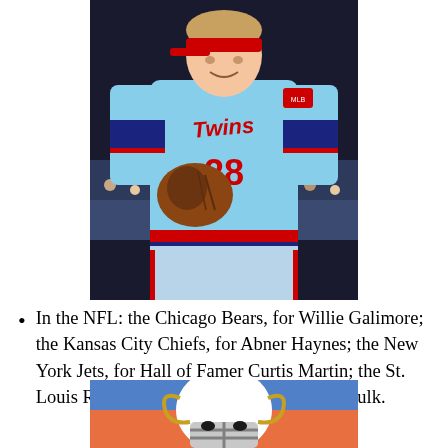[Figure (photo): Baseball player in Minnesota Twins uniform number 28, wearing a light blue jersey, holding a baseball glove, with a crowd in the background.]
In the NFL: the Chicago Bears, for Willie Galimore; the Kansas City Chiefs, for Abner Haynes; the New York Jets, for Hall of Famer Curtis Martin; the St. Louis Rams, for Hall of Famer Marshall Faulk.
[Figure (photo): Football player wearing a helmet with a ram logo, partially visible at the bottom of the page.]